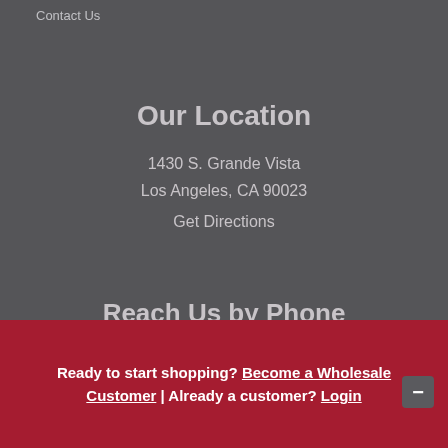Contact Us
Our Location
1430 S. Grande Vista
Los Angeles, CA 90023
Get Directions
Reach Us by Phone
Ready to start shopping? Become a Wholesale Customer | Already a customer? Login